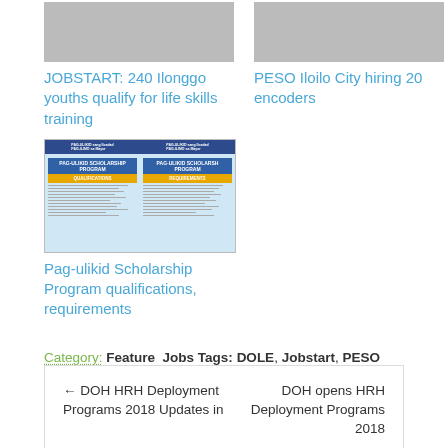[Figure (photo): Thumbnail image placeholder for JOBSTART article]
[Figure (photo): Thumbnail image placeholder for PESO Iloilo City article]
JOBSTART: 240 Ilonggo youths qualify for life skills training
PESO Iloilo City hiring 20 encoders
[Figure (photo): Pag-ulikid Scholarship Program qualifications and requirements infographic showing two panels: Qualifications and Requirements]
Pag-ulikid Scholarship Program qualifications, requirements
Category: Feature Jobs Tags: DOLE, Jobstart, PESO
← DOH HRH Deployment Programs 2018 Updates in
DOH opens HRH Deployment Programs 2018